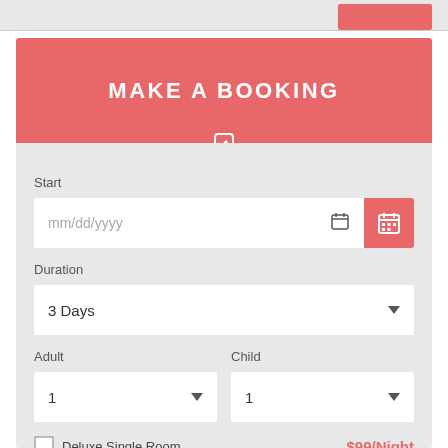[Figure (screenshot): Top partial bar with light gray background and a coral/pink button on the right side, partially visible.]
MAKE A BOOKING
Start
mm/dd/yyyy
Duration
3 Days
Adult
Child
1
1
Deluxe Single Room
$99/Night